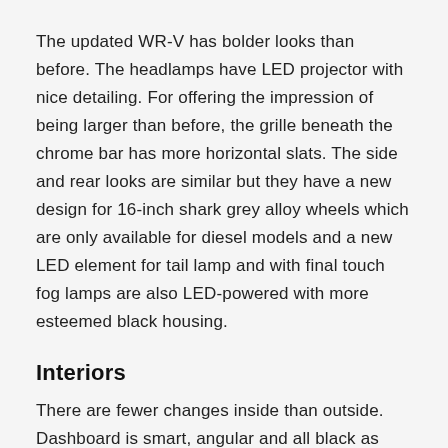The updated WR-V has bolder looks than before. The headlamps have LED projector with nice detailing. For offering the impression of being larger than before, the grille beneath the chrome bar has more horizontal slats. The side and rear looks are similar but they have a new design for 16-inch shark grey alloy wheels which are only available for diesel models and a new LED element for tail lamp and with final touch fog lamps are also LED-powered with more esteemed black housing.
Interiors
There are fewer changes inside than outside. Dashboard is smart, angular and all black as before with silver trim embellishments. The plastic quality is also good. The only change is in seat cushioning which looks sportier than